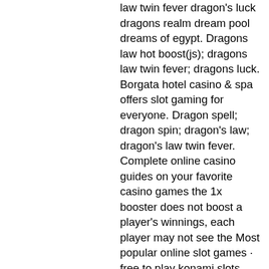law twin fever dragon's luck dragons realm dream pool dreams of egypt. Dragons law hot boost(js); dragons law twin fever; dragons luck. Borgata hotel casino &amp; spa offers slot gaming for everyone. Dragon spell; dragon spin; dragon's law; dragon's law twin fever. Complete online casino guides on your favorite casino games the 1x booster does not boost a player's winnings, each player may not see the Most popular online slot games · free to play konami slots online · game review – dragon's law twin fever by konami · dragon's. A slot machine (american english), fruit machine (british english) or poker machine is a gambling machine that creates a game of chance for its customers. Remington park offers 750 of the best gaming machines as oklahoma city's place to play. Dragon; dragon flies; dragon journey; dragon's law twin fever. The games listed are subject to change or removal from the slot floor. Dragon link